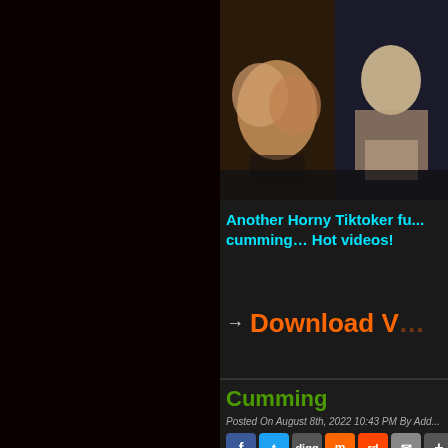[Figure (photo): Partial view of two thumbnail images side by side at the top of the right panel]
Another Horny Tiktoker fu... cumming… Hot videos!
→ Download V...
Cumming
Posted On August 8th, 2022 10:43 PM By Add...
[Figure (other): Social share buttons: Facebook, Twitter, Digg, Mix, Reddit, Mail, More]